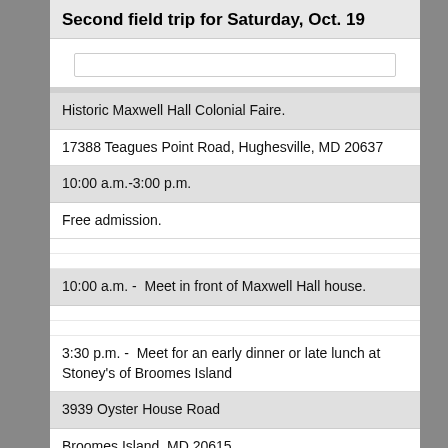Second field trip for Saturday, Oct. 19
Historic Maxwell Hall Colonial Faire.
17388 Teagues Point Road, Hughesville, MD 20637
10:00 a.m.-3:00 p.m.
Free admission.
10:00 a.m. -  Meet in front of Maxwell Hall house.
3:30 p.m. -  Meet for an early dinner or late lunch at Stoney's of Broomes Island
3939 Oyster House Road
Broomes Island, MD 20615